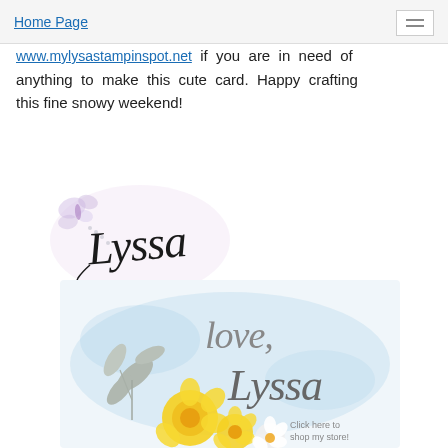Home Page
www.mylysastampinspot.net if you are in need of anything to make this cute card. Happy crafting this fine snowy weekend!
[Figure (illustration): Handwritten cursive signature reading 'Lyssa' with a decorative butterfly and pearls]
[Figure (illustration): Decorative banner with cursive text 'love, Lyssa', yellow and white flowers, gray leaves, and text 'Click here to shop my store!' on a light blue watercolor background]